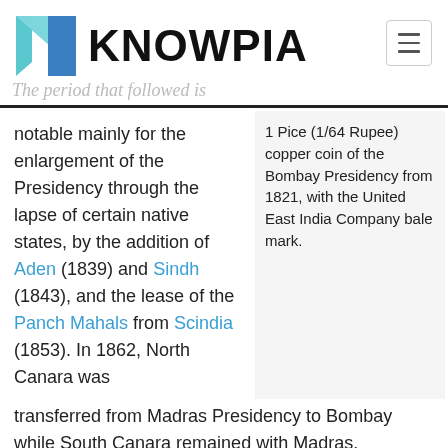KNOWPIA
The period that followed is
notable mainly for the enlargement of the Presidency through the lapse of certain native states, by the addition of Aden (1839) and Sindh (1843), and the lease of the Panch Mahals from Scindia (1853). In 1862, North Canara was transferred from Madras Presidency to Bombay while South Canara remained with Madras.
1 Pice (1/64 Rupee) copper coin of the Bombay Presidency from 1821, with the United East India Company bale mark.
Victorian era Edit
In 1859, under the terms of the Queen's Proclamation issued by Queen Victoria, the Bombay Presidency, along with the rest of British India, came under the